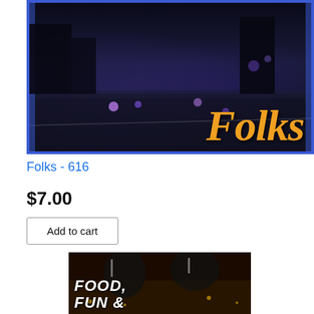[Figure (photo): Night scene screenshot showing dark street with lights and the word 'Folks' in large orange italic script, blue border frame]
Folks - 616
$7.00
Add to cart
[Figure (photo): Glamorous party scene with people in formal attire, gold glitter background, text reading FOOD, FUN &]